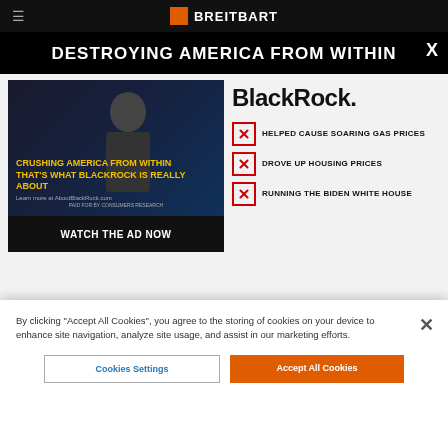BREITBART
DESTROYING AMERICA FROM WITHIN
[Figure (screenshot): Video thumbnail showing a man in front of a white building with text overlay: CRUSHING AMERICA FROM WITHIN THAT'S WHAT BLACKROCK IS REALLY ABOUT, Learn more at AboutBlackRock.com, PAID FOR BY CONSUMERS RESEARCH]
WATCH THE AD NOW
BlackRock.
HELPED CAUSE SOARING GAS PRICES
DROVE UP HOUSING PRICES
RUNNING THE BIDEN WHITE HOUSE
ABOUTBLACKROCK.COM    PAID FOR BY CONSUMERS RESEARCH
By clicking “Accept All Cookies”, you agree to the storing of cookies on your device to enhance site navigation, analyze site usage, and assist in our marketing efforts.
Cookies Settings
Accept All Cookies